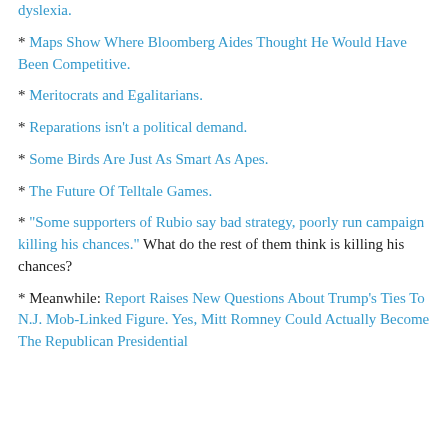dyslexia.
* Maps Show Where Bloomberg Aides Thought He Would Have Been Competitive.
* Meritocrats and Egalitarians.
* Reparations isn't a political demand.
* Some Birds Are Just As Smart As Apes.
* The Future Of Telltale Games.
* "Some supporters of Rubio say bad strategy, poorly run campaign killing his chances." What do the rest of them think is killing his chances?
* Meanwhile: Report Raises New Questions About Trump's Ties To N.J. Mob-Linked Figure. Yes, Mitt Romney Could Actually Become The Republican Presidential